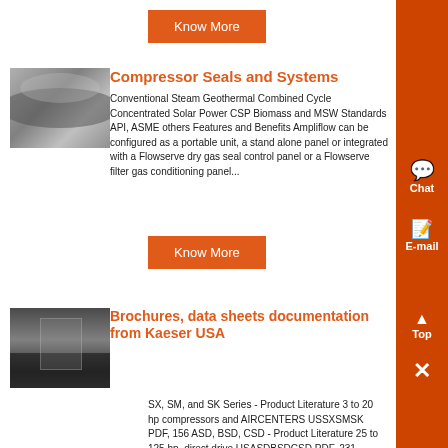Know More
[Figure (photo): Industrial pipe/compressor image]
Compressor Seals and Systems
Conventional Steam Geothermal Combined Cycle Concentrated Solar Power CSP Biomass and MSW Standards API, ASME others Features and Benefits Ampliflow can be configured as a portable unit, a stand alone panel or integrated with a Flowserve dry gas seal control panel or a Flowserve filter gas conditioning panel...
Know More
[Figure (photo): Industrial facility interior image]
Brochures, data sheets documentation from Kaeser USA
SX, SM, and SK Series - Product Literature 3 to 20 hp compressors and AIRCENTERS USSXSMSK PDF, 156 ASD, BSD, CSD - Product Literature 25 to 125 hp, direct drive USASDBSDCSD PDF, 231 Rotary Screw